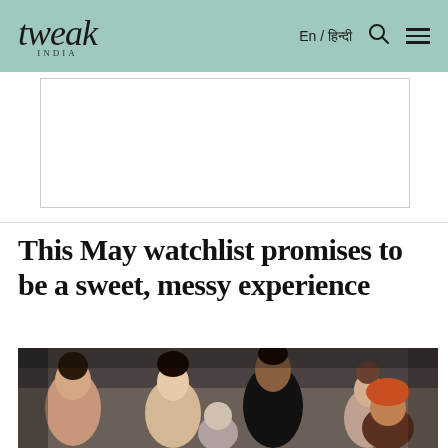tweak INDIA — En / हिन्दी 🔍 ☰
[Figure (other): Advertisement placeholder box (empty white rectangle with border)]
This May watchlist promises to be a sweet, messy experience
[Figure (photo): Group photo of Bollywood cast including Arjun Kapoor in a black coat, Rakul Preet Singh, Neena Gupta, and other cast members outdoors against a brick wall background]